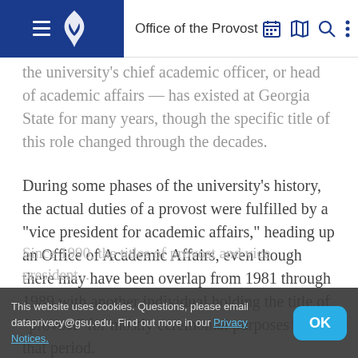Office of the Provost
the university's chief academic officer, or head of academic affairs — has existed at Georgia State for many years, though the specific title of this role changed through the decades.
During some phases of the university's history, the actual duties of a provost were fulfilled by a "vice president for academic affairs," heading up an Office of Academic Affairs, even though there may have been overlap from 1981 through 1989 with another individual holding the title of "provost" for mostly ceremonial purposes during that period.
Since 1990, the titles of provost and vice president...
This website uses cookies. Questions, please email dataprivacy@gsu.edu. Find out more in our Privacy Notices.